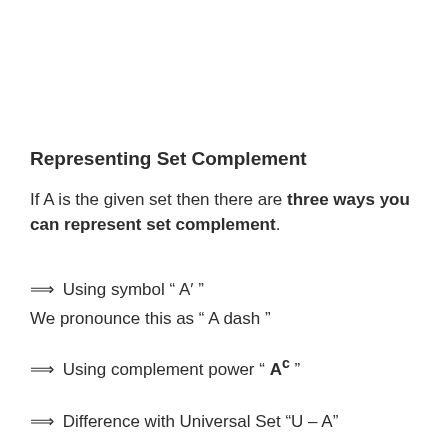Representing Set Complement
If A is the given set then there are three ways you can represent set complement.
⟹ Using symbol " A’ "
We pronounce this as " A dash "
⟹ Using complement power " A^c "
⟹ Difference with Universal Set “U – A”